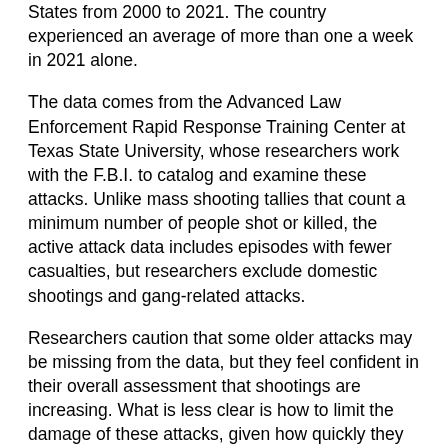States from 2000 to 2021. The country experienced an average of more than one a week in 2021 alone.
The data comes from the Advanced Law Enforcement Rapid Response Training Center at Texas State University, whose researchers work with the F.B.I. to catalog and examine these attacks. Unlike mass shooting tallies that count a minimum number of people shot or killed, the active attack data includes episodes with fewer casualties, but researchers exclude domestic shootings and gang-related attacks.
Researchers caution that some older attacks may be missing from the data, but they feel confident in their overall assessment that shootings are increasing. What is less clear is how to limit the damage of these attacks, given how quickly they unfold and how powerful the weapons used can be.
Most attacks captured in the data were already over before law enforcement arrived. People at the scene did intervene, sometimes shooting the attackers, but typically physically subduing them. But in about half of all cases, the attackers commited suicide or simply stopped shooting and fled.